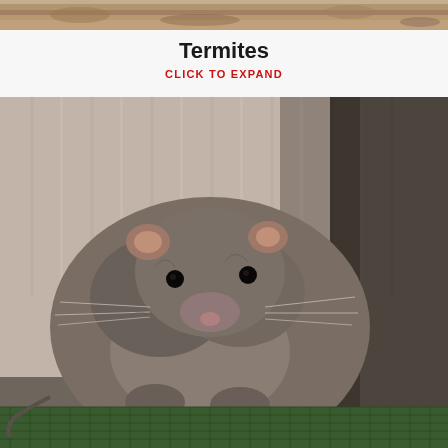[Figure (photo): Partial top photo cropped at the top of the page, showing sandy/rocky ground with what appears to be termite-related imagery]
Termites
CLICK TO EXPAND
[Figure (photo): Close-up photograph of a rat (brown/grey fur) crouching on green mesh/netting against a corrugated metal wall background]